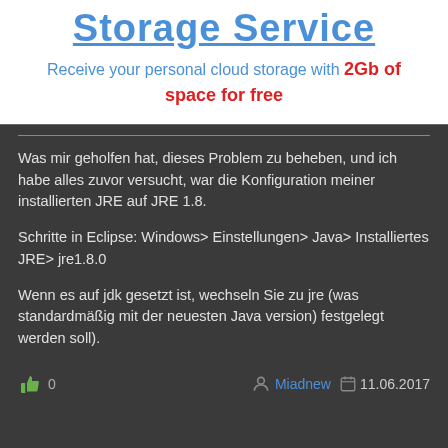[Figure (infographic): Advertisement banner for a cloud storage service showing title 'Storage Service' in blue with underline, and subtitle text 'Receive your personal cloud storage with 2Gb of space for free' where '2Gb of space for free' is in red bold.]
Was mir geholfen hat, dieses Problem zu beheben, und ich habe alles zuvor versucht, war die Konfiguration meiner installierten JRE auf JRE 1.8.
Schritte in Eclipse: Windows> Einstellungen> Java> Installiertes JRE> jre1.8.0
Wenn es auf jdk gesetzt ist, wechseln Sie zu jre (was standardmäßig mit der neuesten Java version) festgelegt werden soll).
👍 0   Miadnew   11.06.2017